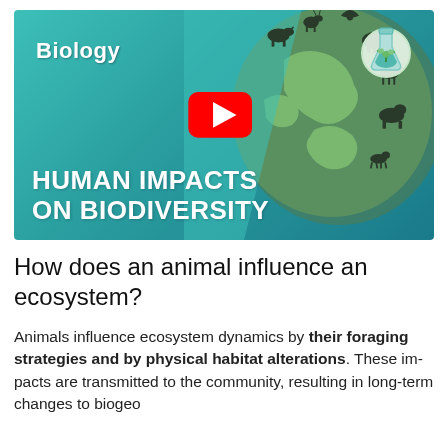[Figure (illustration): YouTube video thumbnail with teal/green gradient background, globe illustration with animal silhouettes, Biology label top-left, red YouTube play button in center, flask icon top-right, title 'HUMAN IMPACTS ON BIODIVERSITY' in large white bold text at bottom]
How does an animal influence an ecosystem?
Animals influence ecosystem dynamics by their foraging strategies and by physical habitat alterations. These impacts are transmitted to the community, resulting in long-term changes to biogeochemical cycling and ecosystem structure.